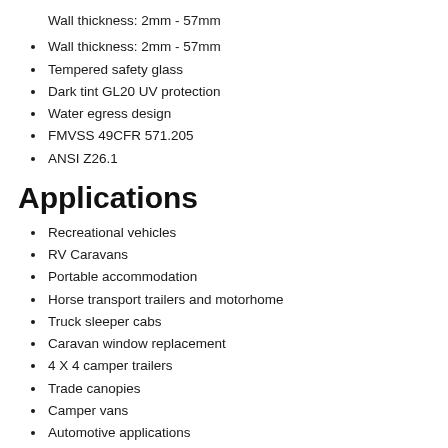Wall thickness: 2mm - 57mm
Tempered safety glass
Dark tint GL20 UV protection
Water egress design
FMVSS 49CFR 571.205
ANSI Z26.1
Applications
Recreational vehicles
RV Caravans
Portable accommodation
Horse transport trailers and motorhome
Truck sleeper cabs
Caravan window replacement
4 X 4 camper trailers
Trade canopies
Camper vans
Automotive applications
Caravans
Dimensions